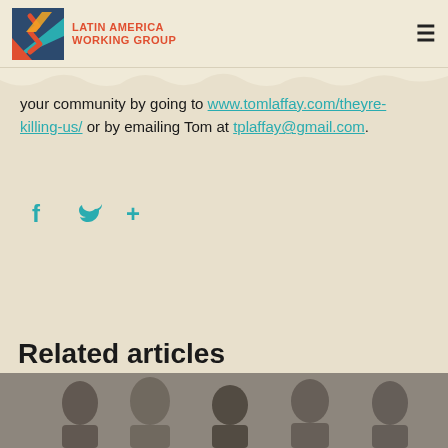LATIN AMERICA WORKING GROUP
your community by going to www.tomlaffay.com/theyre-killing-us/ or by emailing Tom at tplaffay@gmail.com.
[Figure (other): Social share icons: Facebook (f), Twitter (bird), and a plus/share icon in teal color]
Related articles
[Figure (photo): A group photo partially visible at the bottom of the page showing multiple people]